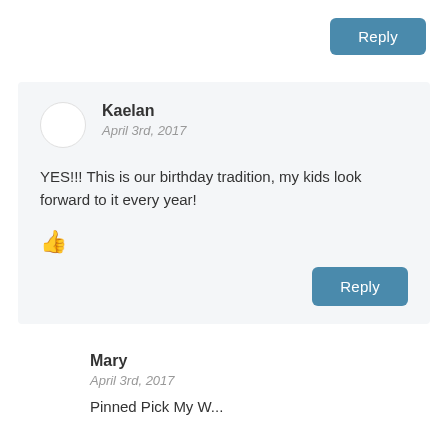Reply
Kaelan
April 3rd, 2017
YES!!! This is our birthday tradition, my kids look forward to it every year!
👍
Reply
Mary
April 3rd, 2017
Pinned Pick My W...